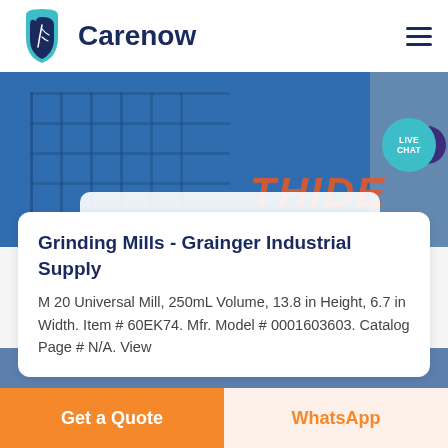[Figure (logo): Carenow logo with teal leaf/shield icon and dark blue text]
[Figure (photo): Industrial building/machinery background image with blue tones and orange 'THIDE' text overlay]
Grinding Mills - Grainger Industrial Supply
M 20 Universal Mill, 250mL Volume, 13.8 in Height, 6.7 in Width. Item # 60EK74. Mfr. Model # 0001603603. Catalog Page # N/A. View
Get a Quote
WhatsApp